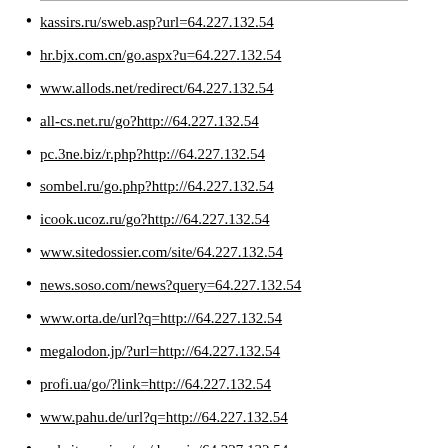kassirs.ru/sweb.asp?url=64.227.132.54
hr.bjx.com.cn/go.aspx?u=64.227.132.54
www.allods.net/redirect/64.227.132.54
all-cs.net.ru/go?http://64.227.132.54
pc.3ne.biz/r.php?http://64.227.132.54
sombel.ru/go.php?http://64.227.132.54
icook.ucoz.ru/go?http://64.227.132.54
www.sitedossier.com/site/64.227.132.54
news.soso.com/news?query=64.227.132.54
www.orta.de/url?q=http://64.227.132.54
megalodon.jp/?url=http://64.227.132.54
profi.ua/go/?link=http://64.227.132.54
www.pahu.de/url?q=http://64.227.132.54
website.review/en/domain/64.227.132.54
www.naboovalley.com/?URL=64.227.132.54
www.totallynsfw.com/?URL=64.227.132.54
sales.apexhaust.com/?URL=64.227.132.54
www.pasco.k12.fl.us/?URL=64.227.132.54
anybeats.jp/jump/?http://64.227.132.54